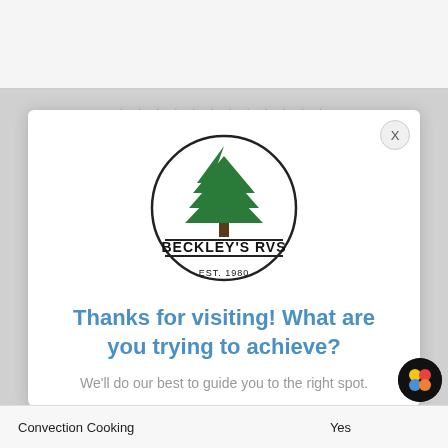[Figure (screenshot): Browser/app screenshot showing a modal popup for Beckley's RVs website with a logo, heading, subtext, and CTA button. Bottom strip shows a table row with 'Convection Cooking' and 'Yes'.]
[Figure (logo): Beckley's RVs circular logo with a green pine tree, text 'BECKLEY'S RVS' and 'EST. 1980']
Thanks for visiting! What are you trying to achieve?
We'll do our best to guide you to the right spot.
Get a Grip on RV Shopping
| Convection Cooking | Yes |
| --- | --- |